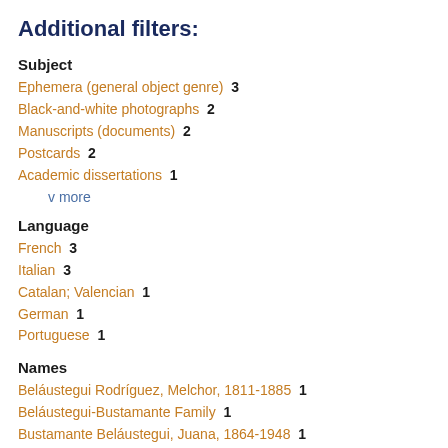Additional filters:
Subject
Ephemera (general object genre)  3
Black-and-white photographs  2
Manuscripts (documents)  2
Postcards  2
Academic dissertations  1
v more
Language
French  3
Italian  3
Catalan; Valencian  1
German  1
Portuguese  1
Names
Beláustegui Rodríguez, Melchor, 1811-1885  1
Beláustegui-Bustamante Family  1
Bustamante Beláustegui, Juana, 1864-1948  1
Coolidge, Calvin, 1872-1933  1
Fisher, Dorothy Canfield, 1879-1958  1